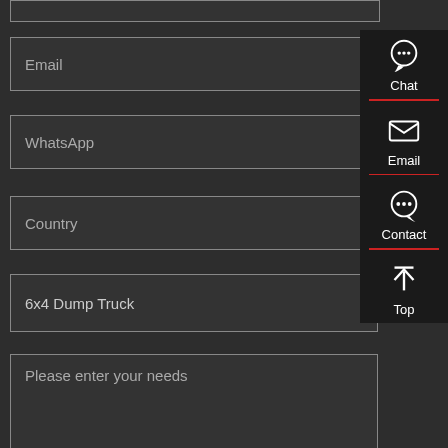Email
WhatsApp
Country
6x4 Dump Truck
Please enter your needs
Chat
Email
Contact
Top